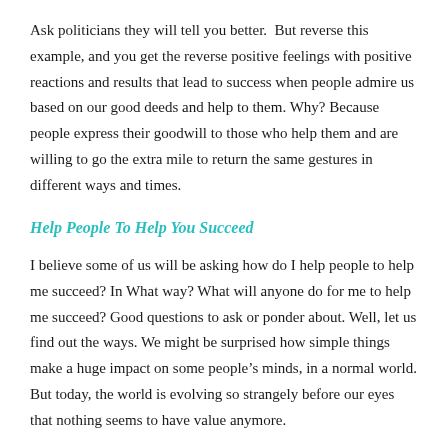Ask politicians they will tell you better.  But reverse this example, and you get the reverse positive feelings with positive reactions and results that lead to success when people admire us based on our good deeds and help to them. Why? Because people express their goodwill to those who help them and are willing to go the extra mile to return the same gestures in different ways and times.
Help People To Help You Succeed
I believe some of us will be asking how do I help people to help me succeed? In What way? What will anyone do for me to help me succeed? Good questions to ask or ponder about. Well, let us find out the ways. We might be surprised how simple things make a huge impact on some people’s minds, in a normal world. But today, the world is evolving so strangely before our eyes that nothing seems to have value anymore.
I heard this preached by a prominent preacher at a marriage seminar a long time ago. He stated it so emphatically, by saying “Give him what he wants and he will give you what you need.” And the crowd laughed. Husbands and wives